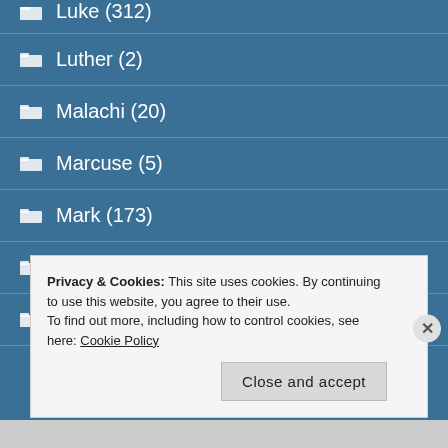Luke (312)
Luther (2)
Malachi (20)
Marcuse (5)
Mark (173)
Marx (4)
Marxism (1)
Privacy & Cookies: This site uses cookies. By continuing to use this website, you agree to their use. To find out more, including how to control cookies, see here: Cookie Policy
Close and accept